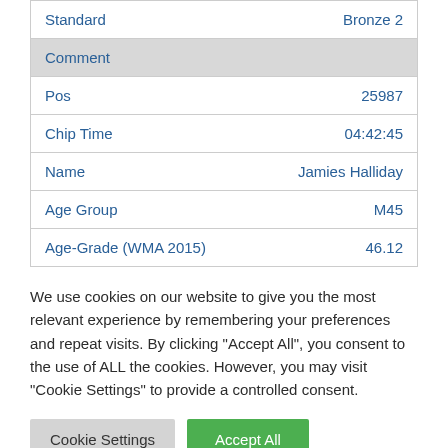| Field | Value |
| --- | --- |
| Standard | Bronze 2 |
| Comment |  |
| Pos | 25987 |
| Chip Time | 04:42:45 |
| Name | Jamies Halliday |
| Age Group | M45 |
| Age-Grade (WMA 2015) | 46.12 |
We use cookies on our website to give you the most relevant experience by remembering your preferences and repeat visits. By clicking "Accept All", you consent to the use of ALL the cookies. However, you may visit "Cookie Settings" to provide a controlled consent.